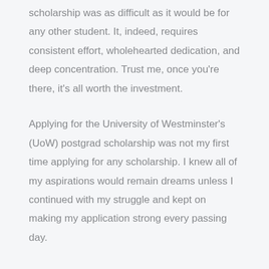scholarship was as difficult as it would be for any other student. It, indeed, requires consistent effort, wholehearted dedication, and deep concentration. Trust me, once you're there, it's all worth the investment.
Applying for the University of Westminster's (UoW) postgrad scholarship was not my first time applying for any scholarship. I knew all of my aspirations would remain dreams unless I continued with my struggle and kept on making my application strong every passing day.
It took me almost one whole year from the time I